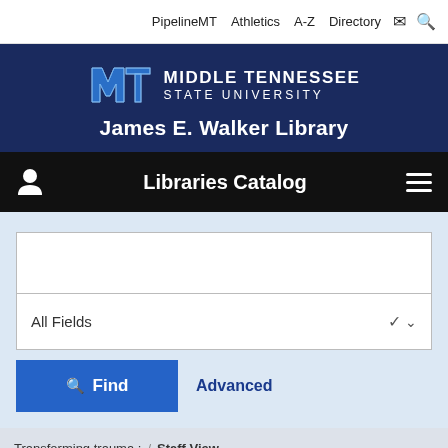PipelineMT  Athletics  A-Z  Directory
[Figure (logo): Middle Tennessee State University logo with MT letters and university name, James E. Walker Library header]
Libraries Catalog
[Figure (screenshot): Search interface with text input field, All Fields dropdown selector, Find button, and Advanced link]
Transforming trauma :  /  Staff View